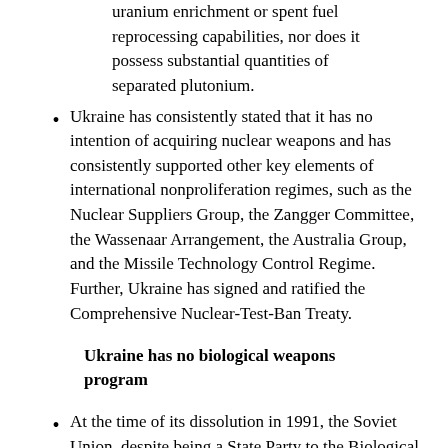uranium enrichment or spent fuel reprocessing capabilities, nor does it possess substantial quantities of separated plutonium.
Ukraine has consistently stated that it has no intention of acquiring nuclear weapons and has consistently supported other key elements of international nonproliferation regimes, such as the Nuclear Suppliers Group, the Zangger Committee, the Wassenaar Arrangement, the Australia Group, and the Missile Technology Control Regime.  Further, Ukraine has signed and ratified the Comprehensive Nuclear-Test-Ban Treaty.
Ukraine has no biological weapons program
At the time of its dissolution in 1991, the Soviet Union, despite being a State Party to the Biological Weapons Convention (BWC), had a